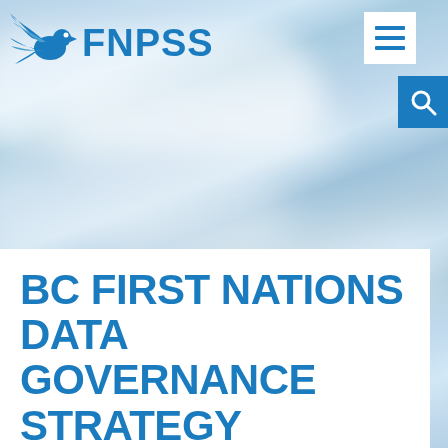[Figure (logo): FNPSS logo: blue eagle/bird with wings spread to the left, bold blue text FNPSS to the right]
[Figure (illustration): Blue sky with white clouds background image]
[Figure (other): White square hamburger menu icon with three blue horizontal bars]
[Figure (other): Blue square search icon with white magnifying glass]
BC FIRST NATIONS DATA GOVERNANCE STRATEGY